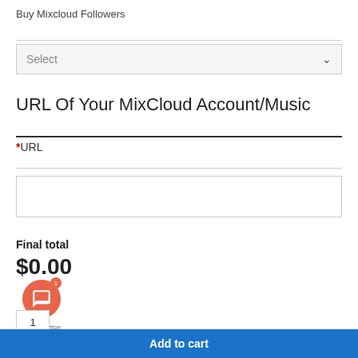Buy Mixcloud Followers
[Figure (screenshot): Dropdown select box with placeholder text 'Select' and a chevron arrow on the right, light gray background]
URL Of Your MixCloud Account/Music
*URL
[Figure (screenshot): Empty text input box for URL entry]
Final total
$0.00
[Figure (illustration): Orange circular chat button with speech bubble icon, showing notification badge with number 1, and 2GetButton branding below]
[Figure (screenshot): Blue Add to cart button at the bottom of the page]